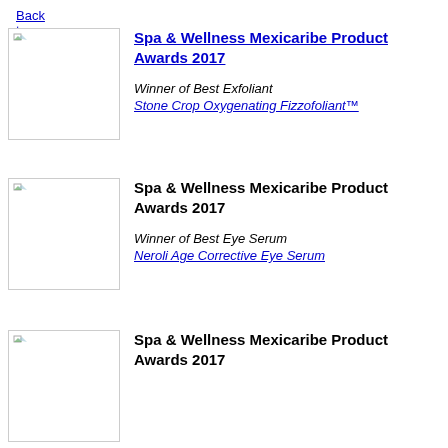Back to Top
[Figure (photo): Broken image placeholder for Spa & Wellness Mexicaribe Product Awards 2017 entry 1]
Spa & Wellness Mexicaribe Product Awards 2017
Winner of Best Exfoliant
Stone Crop Oxygenating Fizzofoliant™
[Figure (photo): Broken image placeholder for Spa & Wellness Mexicaribe Product Awards 2017 entry 2]
Spa & Wellness Mexicaribe Product Awards 2017
Winner of Best Eye Serum
Neroli Age Corrective Eye Serum
[Figure (photo): Broken image placeholder for Spa & Wellness Mexicaribe Product Awards 2017 entry 3]
Spa & Wellness Mexicaribe Product Awards 2017